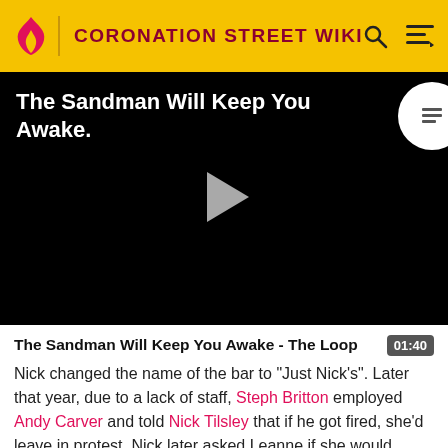CORONATION STREET WIKI
[Figure (screenshot): Video player with black background showing title 'The Sandman Will Keep You Awake.' with a grey play button in the center and a circular playlist button in the top right corner]
The Sandman Will Keep You Awake - The Loop
Nick changed the name of the bar to "Just Nick's". Later that year, due to a lack of staff, Steph Britton employed Andy Carver and told Nick Tilsley that if he got fired, she'd leave in protest. Nick later asked Leanne if she would